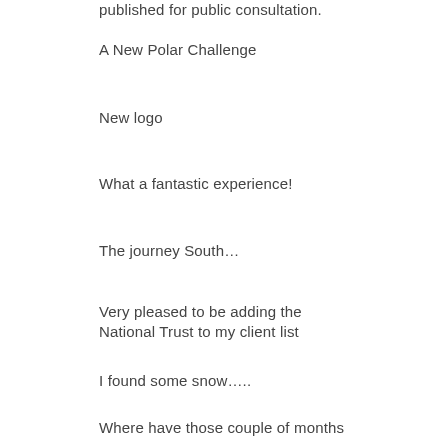published for public consultation.
A New Polar Challenge
New logo
What a fantastic experience!
The journey South…
Very pleased to be adding the National Trust to my client list
I found some snow…..
Where have those couple of months gone?